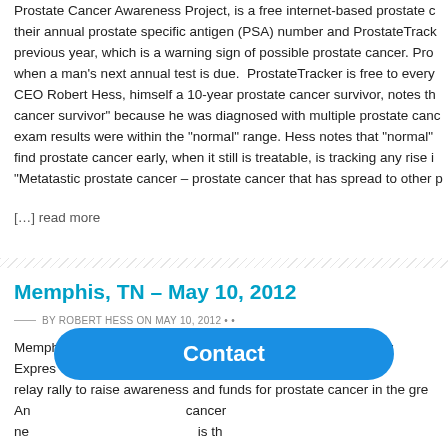Prostate Cancer Awareness Project, is a free internet-based prostate cancer tracking their annual prostate specific antigen (PSA) number and ProstateTrack previous year, which is a warning sign of possible prostate cancer. Pro when a man's next annual test is due. ProstateTracker is free to every CEO Robert Hess, himself a 10-year prostate cancer survivor, notes th cancer survivor" because he was diagnosed with multiple prostate canc exam results were within the "normal" range. Hess notes that "normal" find prostate cancer early, when it still is treatable, is tracking any rise i "Metatastic prostate cancer – prostate cancer that has spread to other p
[…] read more
Memphis, TN – May 10, 2012
BY ROBERT HESS ON MAY 10, 2012 • •
Memphis, Tennessee May 10, 2012. The Prostate Cancer Pony Expres relay rally to raise awareness and funds for prostate cancer in the gre An cancer ne is th Purpose The Prostate Cancer Pony Express riders are delivering a jo